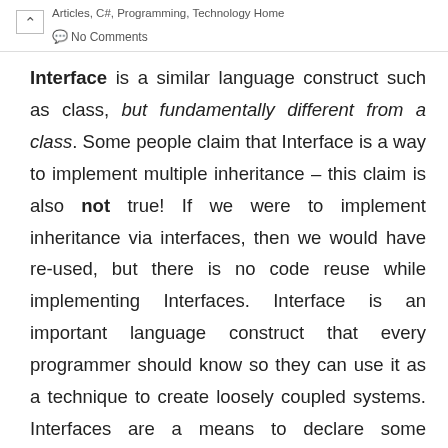Articles, C#, Programming, Technology Home | No Comments
Interface is a similar language construct such as class, but fundamentally different from a class. Some people claim that Interface is a way to implement multiple inheritance – this claim is also not true! If we were to implement inheritance via interfaces, then we would have re-used, but there is no code reuse while implementing Interfaces. Interface is an important language construct that every programmer should know so they can use it as a technique to create loosely coupled systems. Interfaces are a means to declare some capabilities or services so other classes may use them by implementing those interfaces.In C#, Interfaces cannot have concrete